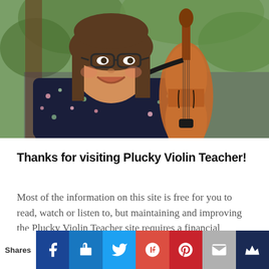[Figure (photo): A smiling young woman with glasses holding a violin, wearing a dark floral top, outdoors with green trees in the background.]
Thanks for visiting Plucky Violin Teacher!
Most of the information on this site is free for you to read, watch or listen to, but maintaining and improving the Plucky Violin Teacher site requires a financial commitment